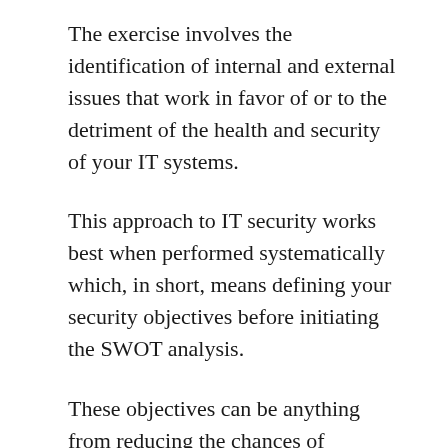The exercise involves the identification of internal and external issues that work in favor of or to the detriment of the health and security of your IT systems.
This approach to IT security works best when performed systematically which, in short, means defining your security objectives before initiating the SWOT analysis.
These objectives can be anything from reducing the chances of cybersecurity breaches to determining the vulnerability of your organization's Internet of Things (IoT) devices.
There are many options to choose from, but a